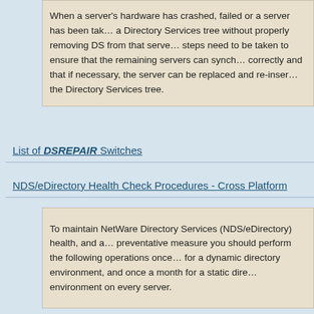When a server's hardware has crashed, failed or a server has been taken out of a Directory Services tree without properly removing DS from that server, steps need to be taken to ensure that the remaining servers can synchronize correctly and that if necessary, the server can be replaced and re-inserted into the Directory Services tree.
List of DSREPAIR Switches
NDS/eDirectory Health Check Procedures - Cross Platform
To maintain NetWare Directory Services (NDS/eDirectory) health, and as a preventative measure you should perform the following operations once a week for a dynamic directory environment, and once a month for a static directory environment on every server.
Health Check Procedures for NDS eDirectory on Supported Platforms
This AppNote outlines regular health check procedures for Novell Directory Services (NDS) or eDirectory. The procedures are given for running the checks in several of the supported platforms for eDirectory: NetWare...